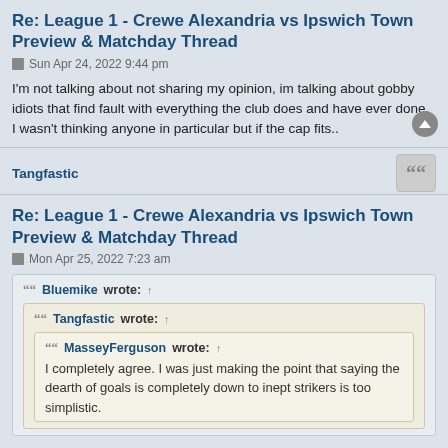Re: League 1 - Crewe Alexandria vs Ipswich Town Preview & Matchday Thread
Sun Apr 24, 2022 9:44 pm
I'm not talking about not sharing my opinion, im talking about gobby idiots that find fault with everything the club does and have ever done, I wasn't thinking anyone in particular but if the cap fits..
Tangfastic
Re: League 1 - Crewe Alexandria vs Ipswich Town Preview & Matchday Thread
Mon Apr 25, 2022 7:23 am
Bluemike wrote: ↑
Tangfastic wrote: ↑
MasseyFerguson wrote: ↑
I completely agree. I was just making the point that saying the dearth of goals is completely down to inept strikers is too simplistic.